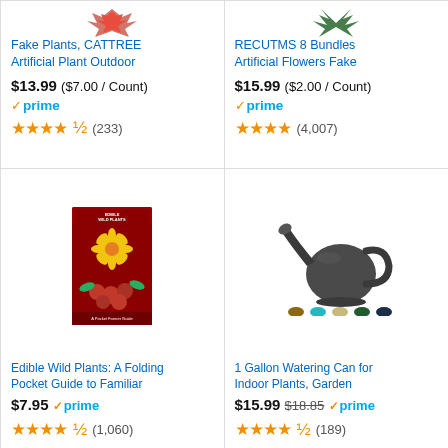[Figure (photo): Fake Plants CATTREE product image (partially cut off at top)]
Fake Plants, CATTREE Artificial Plant Outdoor
$13.99 ($7.00 / Count)
prime
★★★★✩ (233)
[Figure (photo): RECUTMS Artificial Flowers product image (partially cut off at top)]
RECUTMS 8 Bundles Artificial Flowers Fake
$15.99 ($2.00 / Count)
prime
★★★★ (4,007)
[Figure (photo): Edible Wild Plants book cover with yellow dandelion and blackberries]
Edible Wild Plants: A Folding Pocket Guide to Familiar
$7.95
prime
★★★★✩ (1,060)
[Figure (photo): 1 Gallon Watering Can in dark gray with color variants shown below]
1 Gallon Watering Can for Indoor Plants, Garden
$15.99 $18.85
prime
★★★★✩ (189)
Ads by Amazon
Flo er Garden